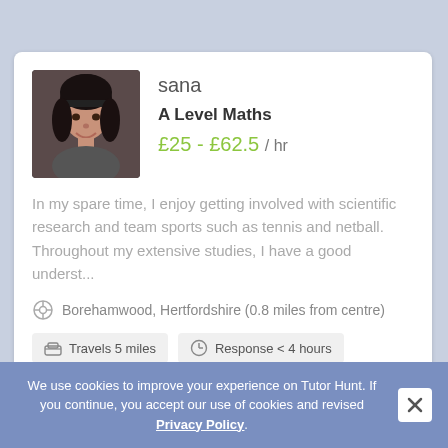sana
A Level Maths
£25 - £62.5 / hr
In my spare time, I enjoy getting involved with scientific research and team sports such as tennis and netball. Throughout my extensive studies, I have a good underst...
Borehamwood, Hertfordshire (0.8 miles from centre)
Travels 5 miles
Response < 4 hours
Member for 24 months
We use cookies to improve your experience on Tutor Hunt. If you continue, you accept our use of cookies and revised Privacy Policy.